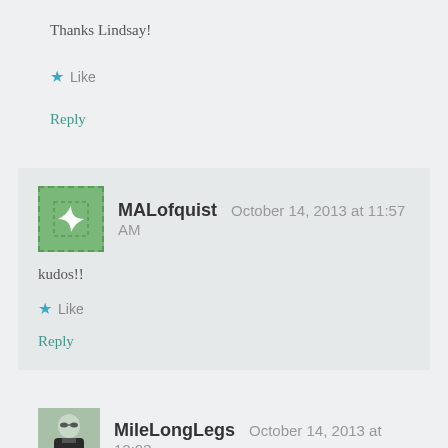Thanks Lindsay!
★ Like
Reply
MALofquist   October 14, 2013 at 11:57 AM
kudos!!
★ Like
Reply
MileLongLegs   October 14, 2013 at 12:03